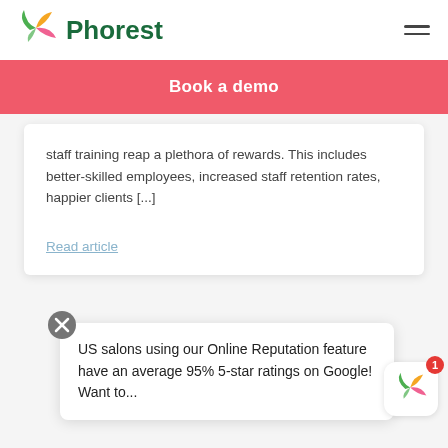[Figure (logo): Phorest logo with colorful leaf/petals icon and green Phorest wordmark, plus hamburger menu icon on the right]
[Figure (infographic): Red banner with white text: Book a demo]
staff training reap a plethora of rewards. This includes better-skilled employees, increased staff retention rates, happier clients [...]
Read article
US salons using our Online Reputation feature have an average 95% 5-star ratings on Google! Want to...
[Figure (logo): Phorest app icon with badge showing 1 notification]